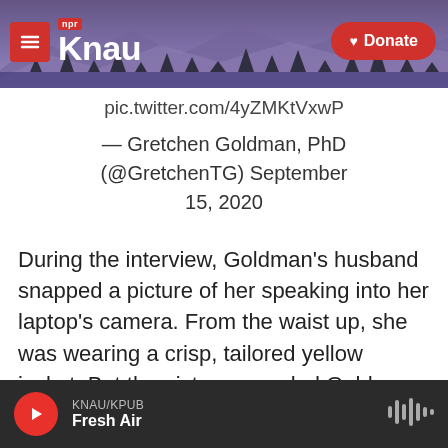KNAU NPR — Donate
pic.twitter.com/4yZMKtVxwP
— Gretchen Goldman, PhD (@GretchenTG) September 15, 2020
During the interview, Goldman's husband snapped a picture of her speaking into her laptop's camera. From the waist up, she was wearing a crisp, tailored yellow jacket. But the picture revealed Goldman had on black running shorts and was sitting in the middle a living room turned upside down by her two toddlers.
KNAU/KPUB Fresh Air